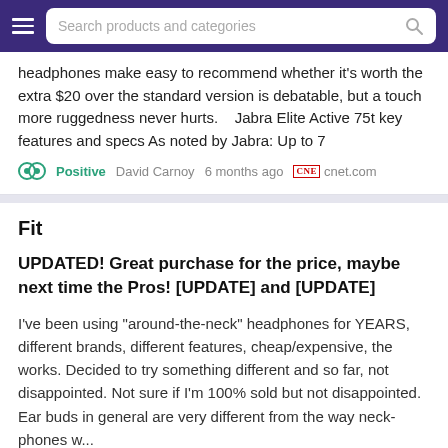Search products and categories
headphones make easy to recommend whether it's worth the extra $20 over the standard version is debatable, but a touch more ruggedness never hurts.    Jabra Elite Active 75t key features and specs As noted by Jabra: Up to 7
Positive   David Carnoy   6 months ago   cnet.com
Fit
UPDATED! Great purchase for the price, maybe next time the Pros! [UPDATE] and [UPDATE]
I've been using "around-the-neck" headphones for YEARS, different brands, different features, cheap/expensive, the works. Decided to try something different and so far, not disappointed. Not sure if I'm 100% sold but not disappointed. Ear buds in general are very different from the way neck-phones w...
5.0  ★  cBurgessc   1 year ago   amazon.com